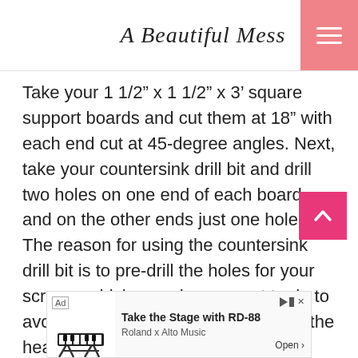A Beautiful Mess
Take your 1 1/2" x 1 1/2" x 3' square support boards and cut them at 18" with each end cut at 45-degree angles. Next, take your countersink drill bit and drill two holes on one end of each board and on the other ends just one hole. The reason for using the countersink drill bit is to pre-drill the holes for your screws, which you always want to do to avoid splitting the wood, and also so the head of the screw can be hidden with wood putty later.
[Figure (other): Advertisement banner: Take the Stage with RD-88, Roland x Alto Music, Open button]